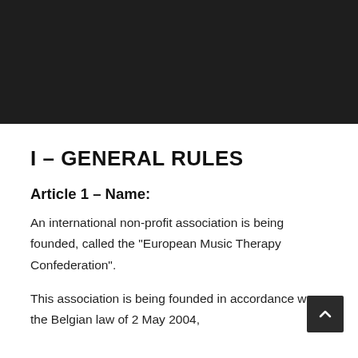[Figure (other): Dark header banner area, solid dark background, approximately 155px tall spanning full width.]
I – GENERAL RULES
Article 1 – Name:
An international non-profit association is being founded, called the “European Music Therapy Confederation”.
This association is being founded in accordance with the Belgian law of 2 May 2004,